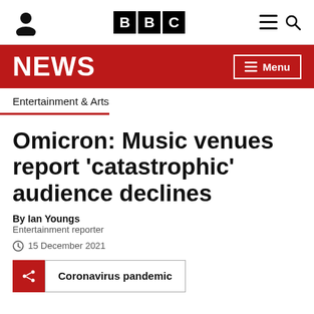BBC NEWS
Entertainment & Arts
Omicron: Music venues report 'catastrophic' audience declines
By Ian Youngs
Entertainment reporter
15 December 2021
Coronavirus pandemic